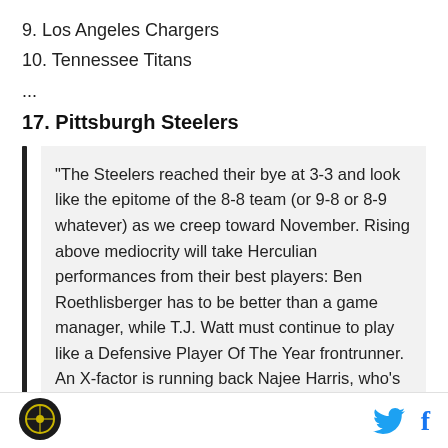9. Los Angeles Chargers
10. Tennessee Titans
...
17. Pittsburgh Steelers
“The Steelers reached their bye at 3-3 and look like the epitome of the 8-8 team (or 9-8 or 8-9 whatever) as we creep toward November. Rising above mediocrity will take Herculian performances from their best players: Ben Roethlisberger has to be better than a game manager, while T.J. Watt must continue to play like a Defensive Player Of The Year frontrunner. An X-factor is running back Najee Harris, who’s come on strong in recent weeks. The first round rookie leads the team in receptions, is in
Logo | Twitter | Facebook